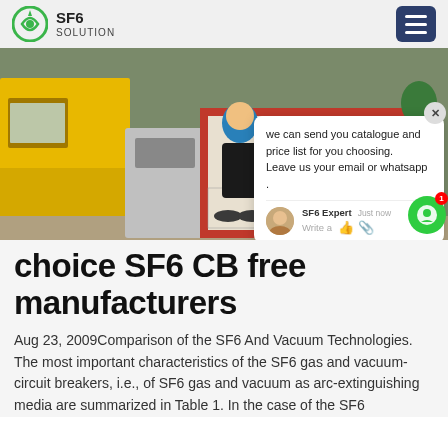SF6 SOLUTION
[Figure (photo): Photo of a person in a blue jacket standing next to industrial SF6 gas handling equipment mounted on a yellow truck, outdoors.]
we can send you catalogue and price list for you choosing. Leave us your email or whatsapp .
choice SF6 CB free manufacturers
Aug 23, 2009Comparison of the SF6 And Vacuum Technologies. The most important characteristics of the SF6 gas and vacuum-circuit breakers, i.e., of SF6 gas and vacuum as arc-extinguishing media are summarized in Table 1. In the case of the SF6